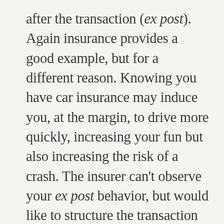after the transaction (ex post). Again insurance provides a good example, but for a different reason. Knowing you have car insurance may induce you, at the margin, to drive more quickly, increasing your fun but also increasing the risk of a crash. The insurer can't observe your ex post behavior, but would like to structure the transaction so you don't take those risks that would cost the insurer more money. Here the deductible also provides a mechanism to reduce your incentive to drive quickly, because if you do you bear more of the cost. In 1975 Sam Peltzman wrote about the unexpected negative consequences of devices such as seat belts and athletic helmets as examples of moral hazard, and Gordon Tullock famously said that to negate moral hazard all steering wheels should come